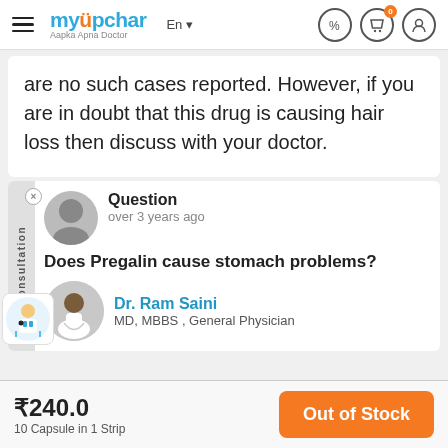myUpchar – Aapka Apna Doctor
are no such cases reported. However, if you are in doubt that this drug is causing hair loss then discuss with your doctor.
Question
over 3 years ago
Does Pregalin cause stomach problems?
Dr. Ram Saini
MD, MBBS , General Physician
₹240.0
10 Capsule in 1 Strip